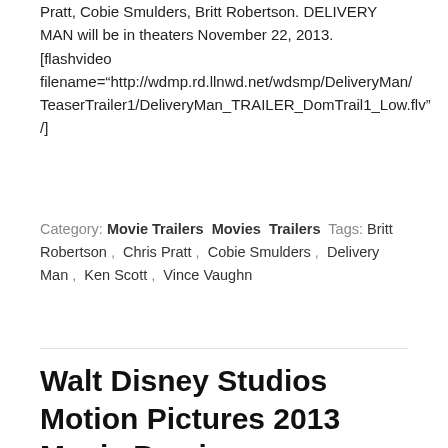Pratt, Cobie Smulders, Britt Robertson. DELIVERY MAN will be in theaters November 22, 2013. [flashvideo filename="http://wdmp.rd.llnwd.net/wdsmp/DeliveryMan/TeaserTrailer1/DeliveryMan_TRAILER_DomTrail1_Low.flv" /]
Category: Movie Trailers  Movies  Trailers  Tags: Britt Robertson ,  Chris Pratt ,  Cobie Smulders ,  Delivery Man ,  Ken Scott ,  Vince Vaughn
Walt Disney Studios Motion Pictures 2013 Movie Preview
By milo | December 20, 2012
Oz The Great and Powerful Release Date: March 8, 2013 [flashvideo filename="http://wdmp.rd.llnwd.net/wdsmp/OzTheGreatA